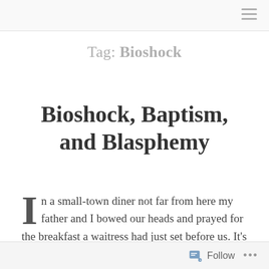Tag: Bioshock
Bioshock, Baptism, and Blasphemy
In a small-town diner not far from here my father and I bowed our heads and prayed for the breakfast a waitress had just set before us. It's an everyday occurrence — not the diner, but the